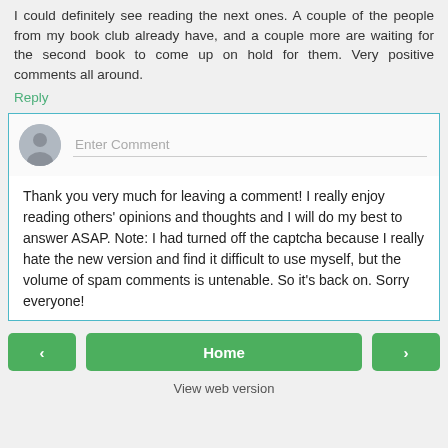I could definitely see reading the next ones. A couple of the people from my book club already have, and a couple more are waiting for the second book to come up on hold for them. Very positive comments all around.
Reply
[Figure (illustration): User avatar placeholder circle with grey silhouette and Enter Comment text field below]
Thank you very much for leaving a comment! I really enjoy reading others' opinions and thoughts and I will do my best to answer ASAP. Note: I had turned off the captcha because I really hate the new version and find it difficult to use myself, but the volume of spam comments is untenable. So it's back on. Sorry everyone!
[Figure (infographic): Navigation bar with left arrow button, Home button, and right arrow button, all green]
View web version